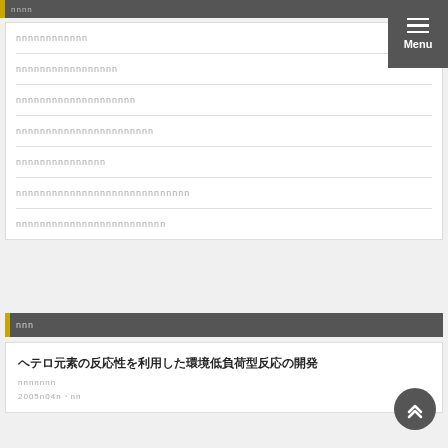nnnn
nnnnnnnnnnnn
nnnnnnnnnnnnnnnnn
nnnnnnnnnnnnnnnnnnnn
nnnnnnnnnnnnnnnnnnnnnnn
nnnnnnnnnnnnnnn
nnnnnnnnnnnnnnnnnnnnnnnnnnnnn
nnnnnnnnnnnnnnnnnnnnnnnnn
nnn
ヘテロ元素の反応性を利用した環境低負荷型反応の開発
nnnnnnn
2005n04n・nn